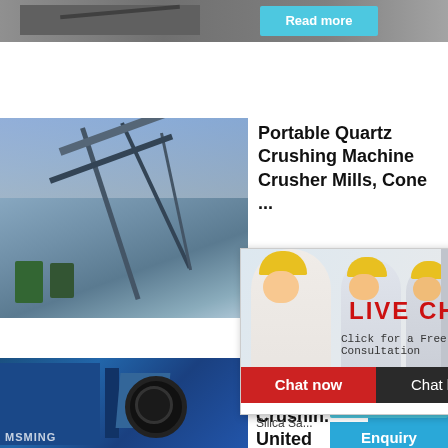[Figure (photo): Partial industrial machinery image at top, grayscale conveyor or crusher equipment]
Read more
[Figure (photo): Industrial conveyor/screening plant with steel frame structure against blue sky]
Portable Quartz Crushing Machine Crusher Mills, Cone ...
[Figure (photo): Live chat popup overlay showing three workers in yellow hard hats with LIVE CHAT text in red and buttons Chat now and Chat later]
[Figure (photo): Right sidebar showing crusher machine image on blue background with hour online text]
[Figure (photo): Blue industrial jaw crusher machine at lower left]
Silica S... Crushing... United ...
Click me to chat>>
Enquiry
limingjlmofen ...
Silica Sa...